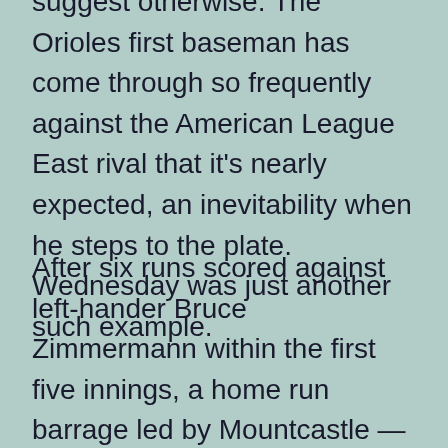suggest otherwise. The Orioles first baseman has come through so frequently against the American League East rival that it's nearly expected, an inevitability when he steps to the plate. Wednesday was just another such example.
After six runs scored against left-hander Bruce Zimmermann within the first five innings, a home run barrage led by Mountcastle — featuring the first of Rutschman's career — brought the Orioles (27-37) back. Mountcastle has made a habit of producing against the Blue Jays; with two more home runs